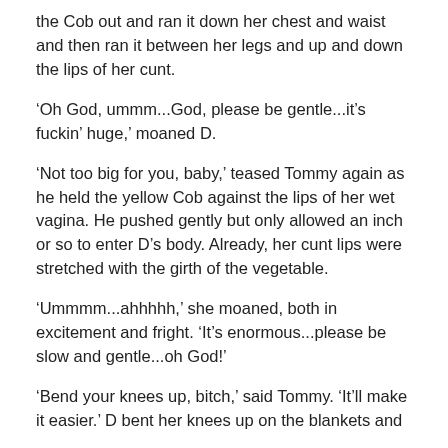the Cob out and ran it down her chest and waist and then ran it between her legs and up and down the lips of her cunt.
‘Oh God, ummm...God, please be gentle...it’s fuckin’ huge,’ moaned D.
‘Not too big for you, baby,’ teased Tommy again as he held the yellow Cob against the lips of her wet vagina. He pushed gently but only allowed an inch or so to enter D’s body. Already, her cunt lips were stretched with the girth of the vegetable.
‘Ummmm...ahhhhh,’ she moaned, both in excitement and fright. ‘It’s enormous...please be slow and gentle...oh God!’
‘Bend your knees up, bitch,’ said Tommy. ‘It’ll make it easier.’ D bent her knees up on the blankets and